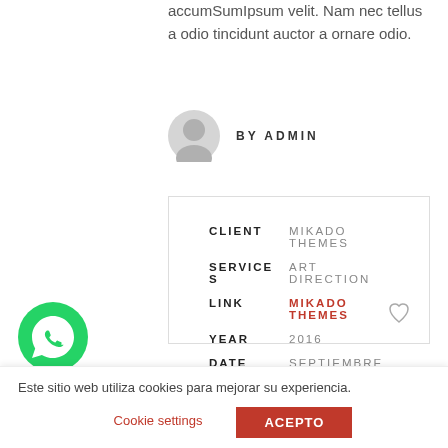accumSumIpsum velit. Nam nec tellus a odio tincidunt auctor a ornare odio.
BY ADMIN
| Field | Value |
| --- | --- |
| CLIENT | MIKADO THEMES |
| SERVICES | ART DIRECTION |
| LINK | MIKADO THEMES |
| YEAR | 2016 |
| DATE | SEPTIEMBRE 6, 2016 |
[Figure (logo): WhatsApp green circular icon]
Este sitio web utiliza cookies para mejorar su experiencia.
Cookie settings
ACEPTO